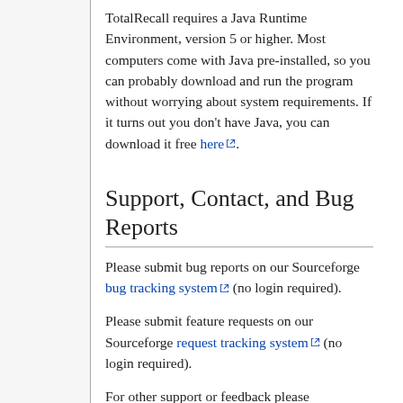TotalRecall requires a Java Runtime Environment, version 5 or higher. Most computers come with Java pre-installed, so you can probably download and run the program without worrying about system requirements. If it turns out you don't have Java, you can download it free here.
Support, Contact, and Bug Reports
Please submit bug reports on our Sourceforge bug tracking system (no login required).
Please submit feature requests on our Sourceforge request tracking system (no login required).
For other support or feedback please